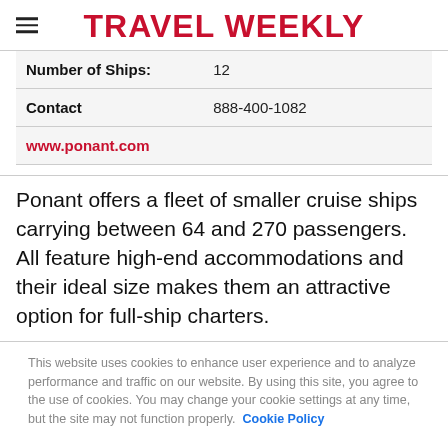TRAVEL WEEKLY
| Number of Ships: | 12 |
| Contact | 888-400-1082 |
| www.ponant.com |  |
Ponant offers a fleet of smaller cruise ships carrying between 64 and 270 passengers. All feature high-end accommodations and their ideal size makes them an attractive option for full-ship charters.
This website uses cookies to enhance user experience and to analyze performance and traffic on our website. By using this site, you agree to the use of cookies. You may change your cookie settings at any time, but the site may not function properly. Cookie Policy